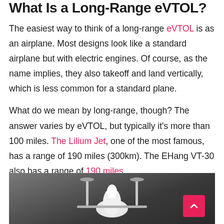What Is a Long-Range eVTOL?
The easiest way to think of a long-range eVTOL is as an airplane. Most designs look like a standard airplane but with electric engines. Of course, as the name implies, they also takeoff and land vertically, which is less common for a standard plane.
What do we mean by long-range, though? The answer varies by eVTOL, but typically it's more than 100 miles. The Lilium Jet, one of the most famous, has a range of 190 miles (300km). The EHang VT-30 also has a range of 190 miles.
[Figure (photo): Black and white photograph of an eVTOL aircraft model or prototype viewed from the front, showing a sleek white fuselage with two vertical stabilizer-like structures on either side.]